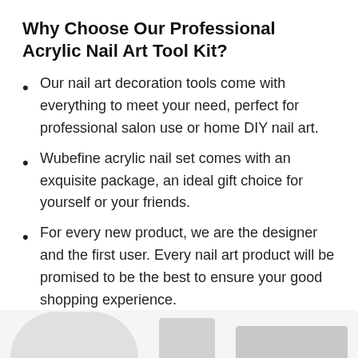Why Choose Our Professional Acrylic Nail Art Tool Kit?
Our nail art decoration tools come with everything to meet your need, perfect for professional salon use or home DIY nail art.
Wubefine acrylic nail set comes with an exquisite package, an ideal gift choice for yourself or your friends.
For every new product, we are the designer and the first user. Every nail art product will be promised to be the best to ensure your good shopping experience.
[Figure (photo): Partial view of nail art tool kit product images at the bottom of the page, showing a round white dish, a tube, and nail tips.]